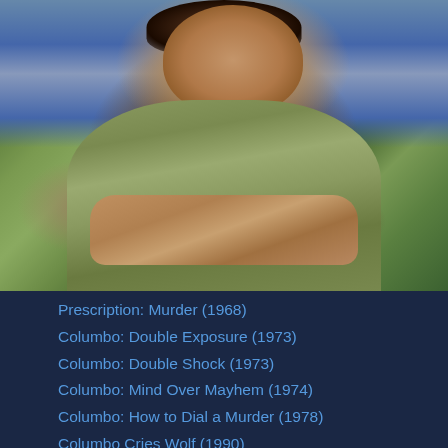[Figure (photo): A man in a khaki/olive jacket leaning forward with his hands clasped, looking to the side. Still image from a film or TV show.]
Prescription: Murder (1968)
Columbo: Double Exposure (1973)
Columbo: Double Shock (1973)
Columbo: Mind Over Mayhem (1974)
Columbo: How to Dial a Murder (1978)
Columbo Cries Wolf (1990)
Columbo Goes to College (1990)
Columbo Likes the Nightlife (2003)
Columbo: Murder in Malibu (1990)